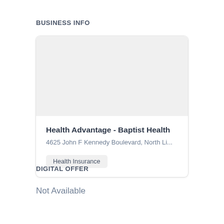BUSINESS INFO
Health Advantage - Baptist Health
4625 John F Kennedy Boulevard, North Li...
Health Insurance
DIGITAL OFFER
Not Available